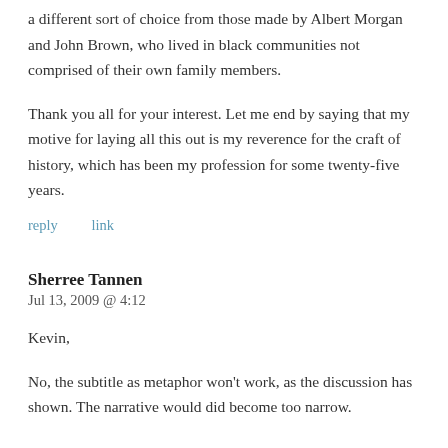a different sort of choice from those made by Albert Morgan and John Brown, who lived in black communities not comprised of their own family members.
Thank you all for your interest. Let me end by saying that my motive for laying all this out is my reverence for the craft of history, which has been my profession for some twenty-five years.
reply   link
Sherree Tannen
Jul 13, 2009 @ 4:12
Kevin,
No, the subtitle as metaphor won’t work, as the discussion has shown. The narrative would did become too narrow.